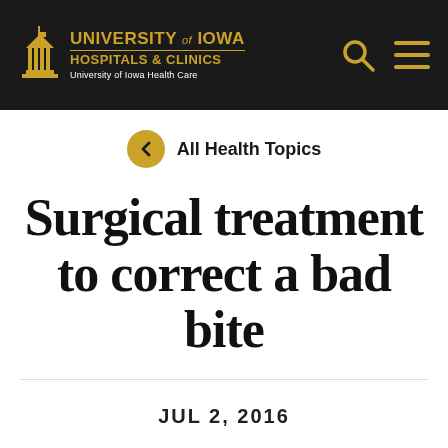[Figure (logo): University of Iowa Hospitals & Clinics logo with building icon on black header bar, with search and menu icons on the right]
All Health Topics
Surgical treatment to correct a bad bite
JUL 2, 2016